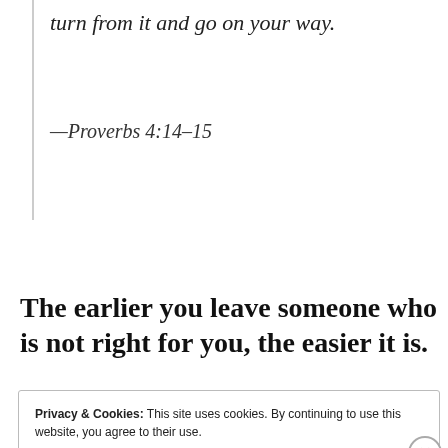turn from it and go on your way.
—Proverbs 4:14–15
The earlier you leave someone who is not right for you, the easier it is.
Privacy & Cookies: This site uses cookies. By continuing to use this website, you agree to their use.
To find out more, including how to control cookies, see here: Cookie Policy
Close and accept